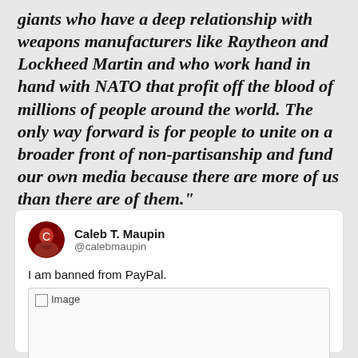giants who have a deep relationship with weapons manufacturers like Raytheon and Lockheed Martin and who work hand in hand with NATO that profit off the blood of millions of people around the world. The only way forward is for people to unite on a broader front of non-partisanship and fund our own media because there are more of us than there are of them."
[Figure (screenshot): A tweet by Caleb T. Maupin (@calebmaupin) with profile avatar. Tweet text: 'I am banned from PayPal.' followed by an image placeholder.]